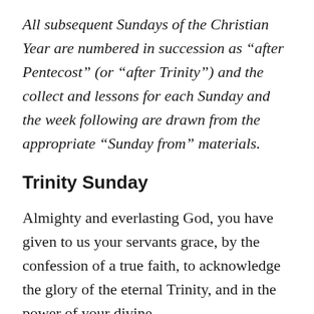All subsequent Sundays of the Christian Year are numbered in succession as “after Pentecost” (or “after Trinity”) and the collect and lessons for each Sunday and the week following are drawn from the appropriate “Sunday from” materials.
Trinity Sunday
Almighty and everlasting God, you have given to us your servants grace, by the confession of a true faith, to acknowledge the glory of the eternal Trinity, and in the power of your divine